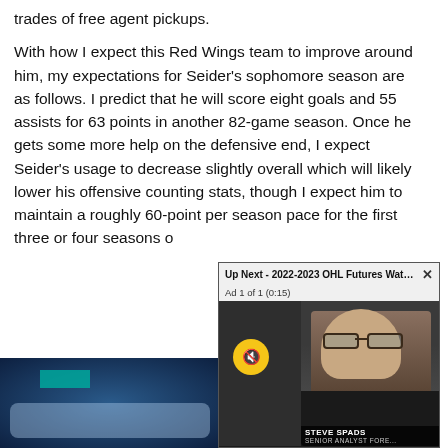trades of free agent pickups.
With how I expect this Red Wings team to improve around him, my expectations for Seider's sophomore season are as follows. I predict that he will score eight goals and 55 assists for 63 points in another 82-game season. Once he gets some more help on the defensive end, I expect Seider's usage to decrease slightly overall which will likely lower his offensive counting stats, though I expect him to maintain a roughly 60-point per season pace for the first three or four seasons o
[Figure (screenshot): Video overlay showing 'Up Next - 2022-2023 OHL Futures Watc...' with Ad 1 of 1 (0:15) label, mute button, OHL team logo background with yellow and black stripes, and a man with glasses (Steve Spads) on the right side]
[Figure (photo): Bottom portion of a hockey arena/rink image, partially obscured by the video overlay, showing blue-tinted arena scene with ice surface]